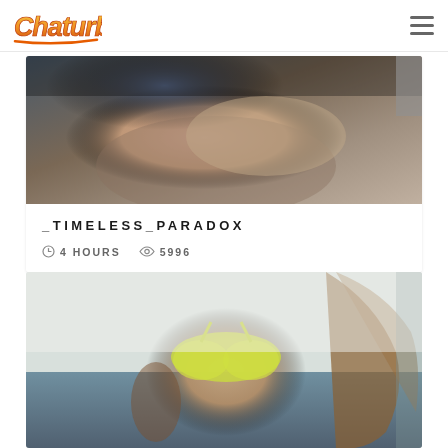[Figure (logo): Chaturbate logo with stylized orange/yellow graffiti text]
[Figure (photo): Close-up photo used as thumbnail for _TIMELESS_PARADOX stream]
_TIMELESS_PARADOX
4 HOURS  5996
[Figure (photo): Photo of woman in yellow/lime bra on couch, second stream thumbnail]